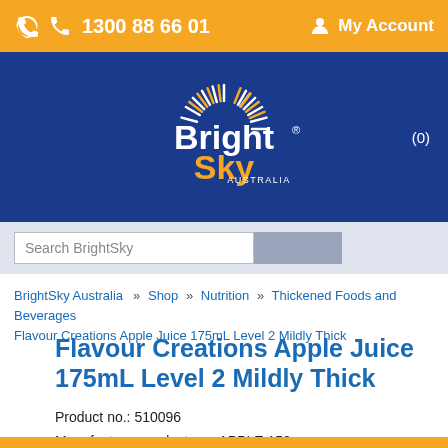1300 88 66 01   My Account
[Figure (logo): BrightSky Australia logo — white and yellow sunburst with text 'BrightSky AUSTRALIA' on a dark blue background]
Search BrightSky
BrightSkky Australia   Shop   Nutrition   Thickened Foods and Beverages   Flavour Creations Apple Juice 175mL Level 2 Mildly Thick
Flavour Creations Apple Juice 175mL Level 2 Mildly Thick
Product no.: 510096
Manufacturer product no.: APPLE 150